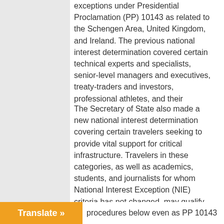exceptions under Presidential Proclamation (PP) 10143 as related to the Schengen Area, United Kingdom, and Ireland. The previous national interest determination covered certain technical experts and specialists, senior-level managers and executives, treaty-traders and investors, professional athletes, and their dependents.
The Secretary of State also made a new national interest determination covering certain travelers seeking to provide vital support for critical infrastructure. Travelers in these categories, as well as academics, students, and journalists for whom National Interest Exception (NIE) criteria has not changed, may qualify for NIEs to PP 10143 as related to the Schengen Area, United Kingdom, and Ireland. No previously-issued visas or NIEs will be revoked due to the new policy. Qualified travelers who are applying for or have valid visas or ESTA authorization may travel to the United States procedures below even as PP 10143
Translate »